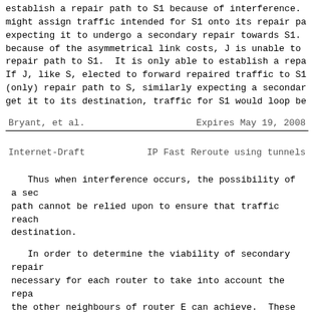establish a repair path to S1 because of interference. might assign traffic intended for S1 onto its repair pa expecting it to undergo a secondary repair towards S1. because of the asymmetrical link costs, J is unable to repair path to S1.  It is only able to establish a repa If J, like S, elected to forward repaired traffic to S1 (only) repair path to S, similarly expecting a secondar get it to its destination, traffic for S1 would loop be
Bryant, et al.              Expires May 19, 2008
Internet-Draft          IP Fast Reroute using tunnels
Thus when interference occurs, the possibility of a sec path cannot be relied upon to ensure that traffic reach destination.
In order to determine the viability of secondary repair necessary for each router to take into account the repa the other neighbours of router E can achieve.  These ca locally by running the repair path computation algorith each of those neighbours.  It is only necessary to comp paths from the routers to which router S can establish with targets of those routers to which repair paths hav established.
Furthermore, if the destination of a...